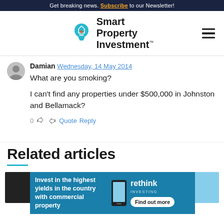Get breaking news. Subscribe to our Newsletter!
[Figure (logo): Smart Property Investment logo with lightbulb icon and hamburger menu]
Damian Wednesday, 14 May 2014
What are you smoking?

I can't find any properties under $500,000 in Johnston and Bellamack?
0  Quote  Reply
Related articles
[Figure (infographic): Advertisement banner: Invest in the highest yields in the country with commercial property - rethink investing, Find out more]